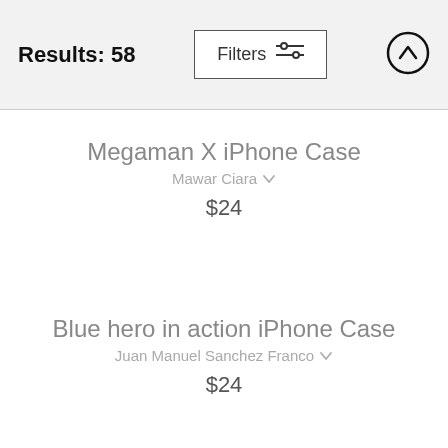Results: 58
Megaman X iPhone Case
Mawar Ciara
$24
Blue hero in action iPhone Case
Juan Manuel Sanchez Franco
$24
Sting Chameleon iPhone Case